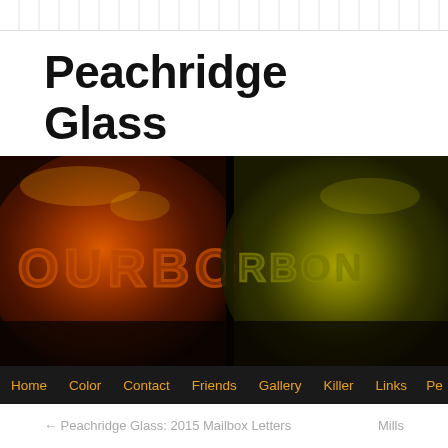Peachridge Glass
[Figure (photo): Close-up photograph of two antique glass bottles with embossed lettering reading 'BOURBON', one amber/orange on the left and one yellow-green on the right, dark background. Navigation bar at bottom with links: Home, Color, Contact, Friends, Gallery, Killer, Links, Pe...]
← Peachridge Glass: 2015 Mailbox Letters
Mills
Labeled Towle's Crown of Canada Bran...